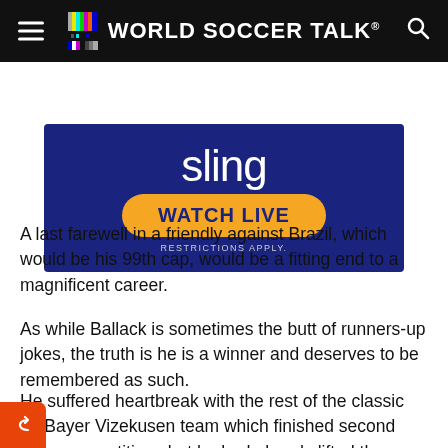World Soccer Talk
[Figure (screenshot): Sling TV advertisement banner with dark blue background showing 'sling' text, an orange 'WATCH LIVE' button, and 'RESTRICTIONS APPLY.' text below]
A last farewell in a friendly against Brazil, which would be his 99th cap, would be a fitting end to a magnificent career.
As while Ballack is sometimes the butt of runners-up jokes, the truth is he is a winner and deserves to be remembered as such.
He suffered heartbreak with the rest of the classic 02 Bayer Vizekusen team which finished second three competitions but he had already lifted the